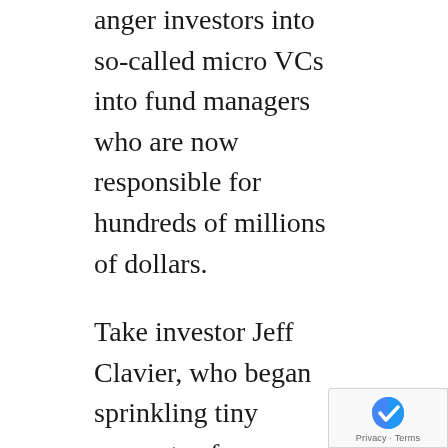anger investors into so-called micro VCs into fund managers who are now responsible for hundreds of millions of dollars.
Take investor Jeff Clavier, who began sprinkling tiny amounts of money across what appeared to be a new crop of capital-efficient startups back in 2004 and soon after launched a firm, SoftTechVC, where Hudson would become a partner in 2013. By 2014, SoftTech had closed a fourth fund with $85 million. Last June, it closed on a record $150 million across two funds